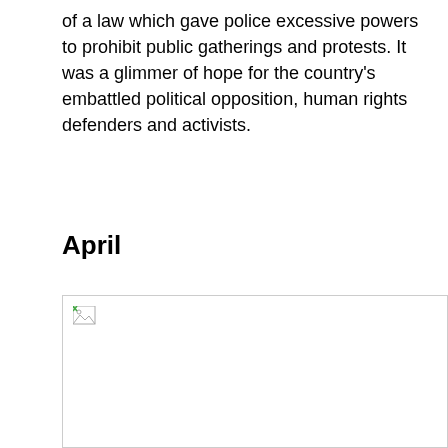of a law which gave police excessive powers to prohibit public gatherings and protests. It was a glimmer of hope for the country's embattled political opposition, human rights defenders and activists.
April
[Figure (photo): Image placeholder (broken/missing image) for April section]